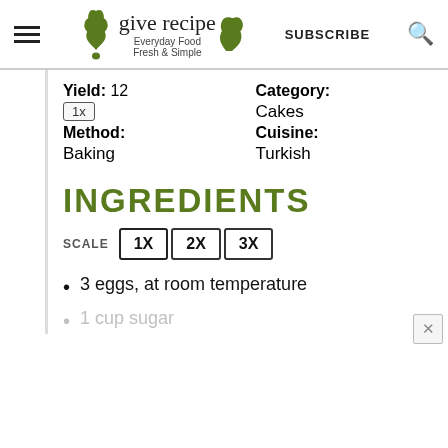give recipe — Everyday Food Fresh & Simple — SUBSCRIBE
Yield: 12
Category:
1x
Cakes
Method:
Cuisine:
Baking
Turkish
INGREDIENTS
SCALE  1X  2X  3X
3 eggs, at room temperature
1 cup sugar